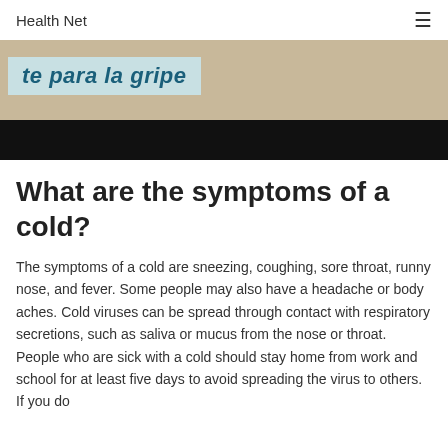Health Net
[Figure (photo): Partial photo showing a blue/teal banner with Spanish text 'te para la gripe' on a marble/stone surface background, with a black strip at the bottom of the image.]
What are the symptoms of a cold?
The symptoms of a cold are sneezing, coughing, sore throat, runny nose, and fever. Some people may also have a headache or body aches. Cold viruses can be spread through contact with respiratory secretions, such as saliva or mucus from the nose or throat. People who are sick with a cold should stay home from work and school for at least five days to avoid spreading the virus to others. If you do